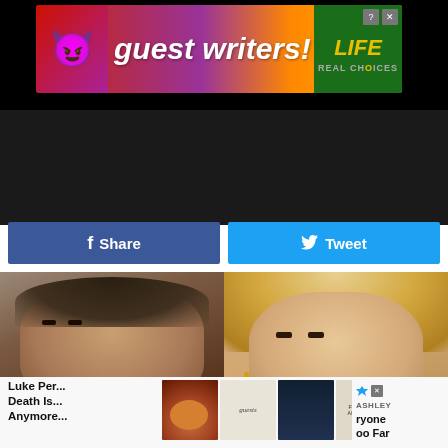[Figure (screenshot): Website screenshot showing ad banner 'guest writers!' with devil emoji, and 'LIFE REAL CHOICES' on right side, on black background]
[Figure (screenshot): Hamburger menu icon (three white lines) on black background]
[Figure (screenshot): Facebook Share button (blue) and Twitter Tweet button (cyan) side by side]
[Figure (photo): Close-up photo of a man with dark beard and short dark hair (Luke Perry)]
[Figure (photo): Close-up photo of a blonde curly-haired woman with glamorous makeup]
Luke Per... Death Is... Anymore...
[Figure (screenshot): Row of thumbnail images and Ashley furniture logo advertisement with 'ryone oo Far' text]